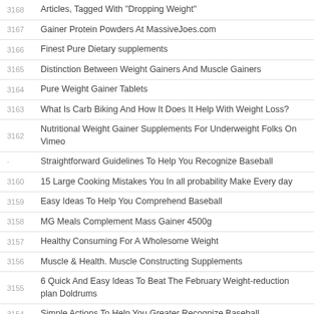3168 Articles, Tagged With "Dropping Weight"
3167 Gainer Protein Powders At MassiveJoes.com
3166 Finest Pure Dietary supplements
3165 Distinction Between Weight Gainers And Muscle Gainers
3164 Pure Weight Gainer Tablets
3163 What Is Carb Biking And How It Does It Help With Weight Loss?
3162 Nutritional Weight Gainer Supplements For Underweight Folks On Vimeo
· Straightforward Guidelines To Help You Recognize Baseball
3160 15 Large Cooking Mistakes You In all probability Make Every day
3159 Easy Ideas To Help You Comprehend Baseball
3158 MG Meals Complement Mass Gainer 4500g
3157 Healthy Consuming For A Wholesome Weight
3156 Muscle & Health. Muscle Constructing Supplements
3155 6 Quick And Easy Ideas To Beat The February Weight-reduction plan Doldrums
3154 Simple Actions To Help You Greater Recognize Baseball
3153 Summanafitness.com